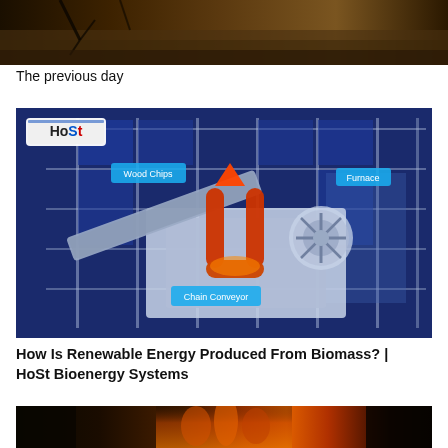[Figure (photo): Dark photo showing what appears to be a flooded or dark environment with branches/debris visible.]
The previous day
[Figure (illustration): 3D render/animation of a biomass energy system by HoSt Bioenergy Systems, showing wood chips conveyor, furnace, and chain conveyor components labelled on a blue industrial facility diagram. HoST logo visible in top left.]
How Is Renewable Energy Produced From Biomass? | HoSt Bioenergy Systems
[Figure (photo): Bottom partial photo showing flames or fire in a dark industrial setting.]